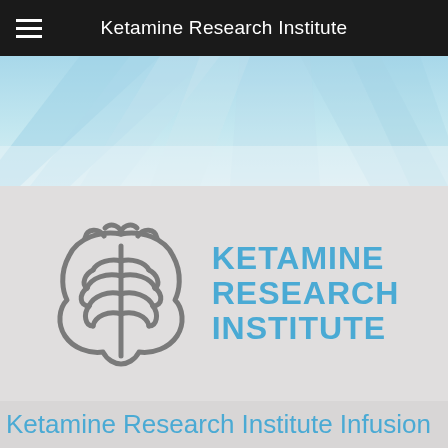Ketamine Research Institute
[Figure (illustration): Blue gradient hero banner image with abstract light rays on a light blue background]
[Figure (logo): Ketamine Research Institute logo: stylized brain icon in gray with text KETAMINE RESEARCH INSTITUTE in blue to the right]
Ketamine Research Institute Infusion